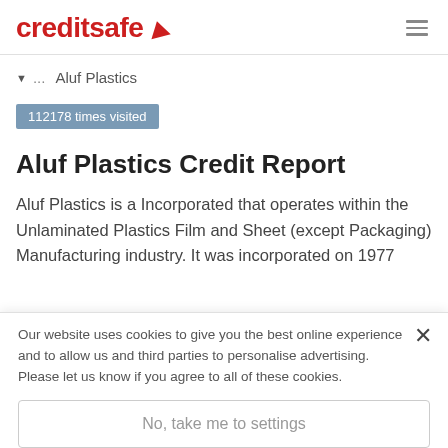creditsafe
▼...  Aluf Plastics
112178 times visited
Aluf Plastics Credit Report
Aluf Plastics is a Incorporated that operates within the Unlaminated Plastics Film and Sheet (except Packaging) Manufacturing industry. It was incorporated on 1977
Our website uses cookies to give you the best online experience and to allow us and third parties to personalise advertising. Please let us know if you agree to all of these cookies.
No, take me to settings